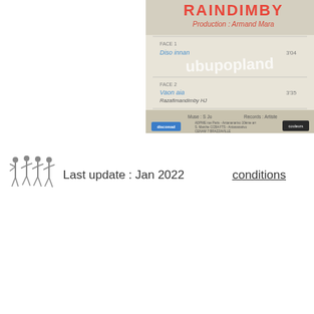[Figure (photo): Scan of a vinyl record sleeve for 'Raindimby', Production: Armand Mara. Shows track listing with Face 1: Diso innan, Face 2: Vaon aia (Razafimandimby HJ). Features logos for Discomad and Couleurs labels. Watermark text 'ubupopland' overlaid on image.]
[Figure (photo): Black and white illustration of four people dancing/walking in a line, facing left.]
Last update : Jan 2022
conditions